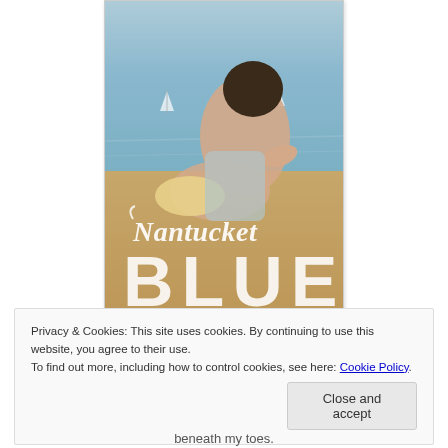[Figure (photo): Book cover for 'Nantucket Blue' — two people on a sandy beach with blue ocean in background, white decorative cursive 'Nantucket' text and large white distressed 'BLUE' text on the cover]
Privacy & Cookies: This site uses cookies. By continuing to use this website, you agree to their use.
To find out more, including how to control cookies, see here: Cookie Policy
Close and accept
beneath my toes.